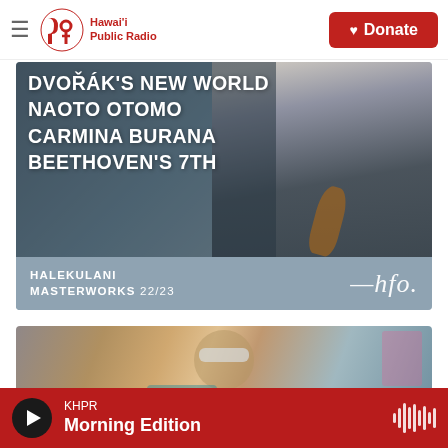Hawai'i Public Radio
[Figure (photo): Concert promotion banner for Halekulani Masterworks 22/23 season showing musicians and text: DVOŘÁK'S NEW WORLD, NAOTO OTOMO, CARMINA BURANA, BEETHOVEN'S 7TH with HSO logo]
[Figure (photo): Student wearing safety goggles smiling in a classroom or workshop setting]
KHPR Morning Edition